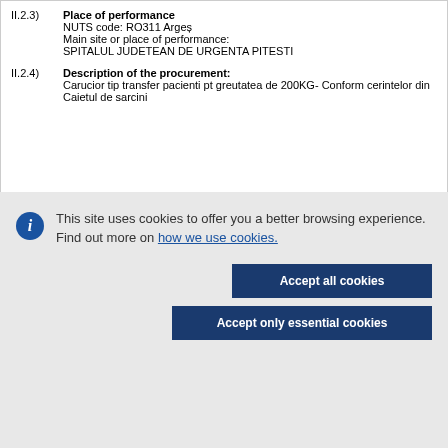II.2.3) Place of performance
NUTS code: RO311 Argeș
Main site or place of performance:
SPITALUL JUDETEAN DE URGENTA PITESTI
II.2.4) Description of the procurement:
Carucior tip transfer pacienti pt greutatea de 200KG- Conform cerintelor din Caietul de sarcini
This site uses cookies to offer you a better browsing experience. Find out more on how we use cookies.
Accept all cookies
Accept only essential cookies